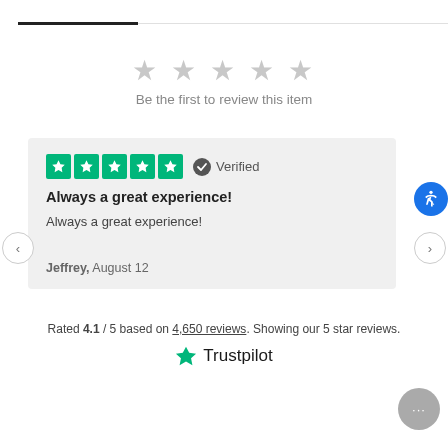★★★★★ Be the first to review this item
★★★★★ Verified
Always a great experience!
Always a great experience!
Jeffrey, August 12
Rated 4.1 / 5 based on 4,650 reviews. Showing our 5 star reviews.
[Figure (logo): Trustpilot logo with green star and Trustpilot text]